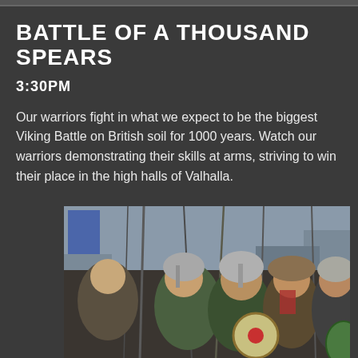BATTLE OF A THOUSAND SPEARS
3:30PM
Our warriors fight in what we expect to be the biggest Viking Battle on British soil for 1000 years. Watch our warriors demonstrating their skills at arms, striving to win their place in the high halls of Valhalla.
[Figure (photo): A crowd of Viking re-enactors wearing helmets, chainmail, and carrying spears and shields, marching through a street.]